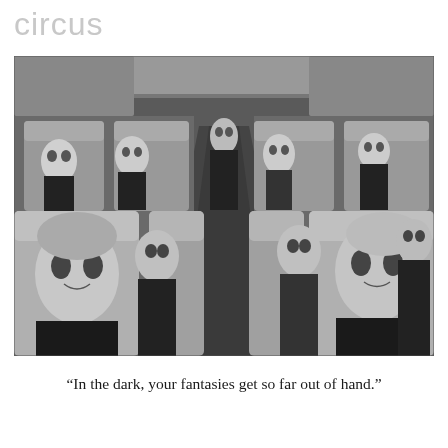circus
[Figure (photo): Black and white photograph of multiple people with theatrical pale makeup seated in rows of large upholstered seats on a bus or train, staring toward the camera with an eerie, unsettling expression.]
“In the dark, your fantasies get so far out of hand.”